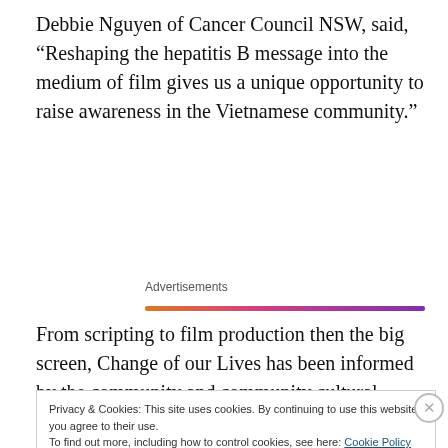Debbie Nguyen of Cancer Council NSW, said, “Reshaping the hepatitis B message into the medium of film gives us a unique opportunity to raise awareness in the Vietnamese community.”
[Figure (other): Advertisements banner with gradient bar from orange to purple]
From scripting to film production then the big screen, Change of our Lives has been informed by the community and community cultural development (CCD) processes.
Privacy & Cookies: This site uses cookies. By continuing to use this website, you agree to their use.
To find out more, including how to control cookies, see here: Cookie Policy